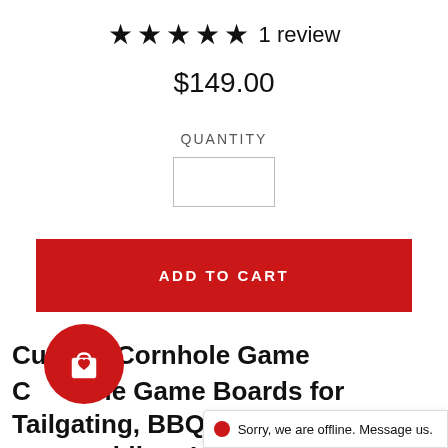★★★★★ 1 review
$149.00
QUANTITY
[Figure (other): Quantity input box (empty)]
ADD TO CART
Custom Cornhole Game
Cornhole Game Boards for Tailgating, BBQs, and Weddings!
• Look no further for a custom
[Figure (other): Red circular chat/shopping bag icon button overlay]
Sorry, we are offline. Message us.